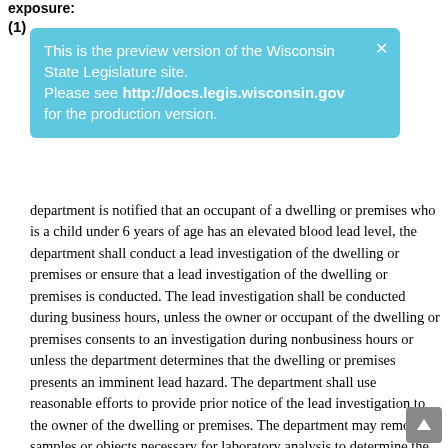exposure:
(1)
This is the preview version of the Wisconsin State Legislature site. Please see http://docs.legis.wisconsin.gov for the production version.
department is notified that an occupant of a dwelling or premises who is a child under 6 years of age has an elevated blood lead level, the department shall conduct a lead investigation of the dwelling or premises or ensure that a lead investigation of the dwelling or premises is conducted. The lead investigation shall be conducted during business hours, unless the owner or occupant of the dwelling or premises consents to an investigation during nonbusiness hours or unless the department determines that the dwelling or premises presents an imminent lead hazard. The department shall use reasonable efforts to provide prior notice of the lead investigation to the owner of the dwelling or premises. The department may remove samples or objects necessary for laboratory analysis to determine the presence of a lead hazard in the dwelling or premises. The department shall prepare and file written reports of all lead investigations conducted under this section and shall make the contents of these reports available for inspection by the public, except for medical information, which may be disclosed only to the extent that patient health care records may be disclosed under ss. 146.82